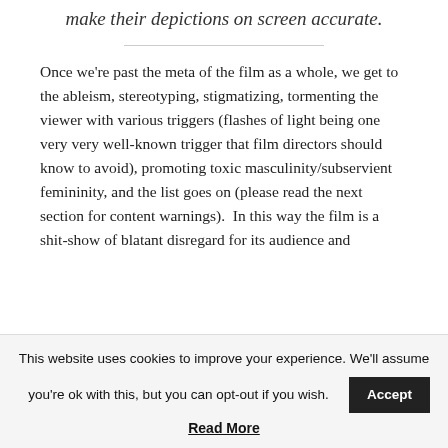make their depictions on screen accurate.
Once we're past the meta of the film as a whole, we get to the ableism, stereotyping, stigmatizing, tormenting the viewer with various triggers (flashes of light being one very very well-known trigger that film directors should know to avoid), promoting toxic masculinity/subservient femininity, and the list goes on (please read the next section for content warnings).  In this way the film is a shit-show of blatant disregard for its audience and
This website uses cookies to improve your experience. We'll assume you're ok with this, but you can opt-out if you wish. Accept
Read More